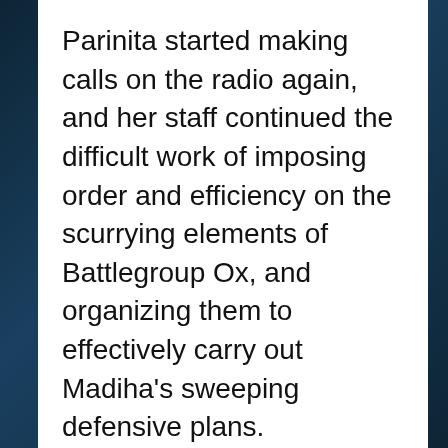Parinita started making calls on the radio again, and her staff continued the difficult work of imposing order and efficiency on the scurrying elements of Battlegroup Ox, and organizing them to effectively carry out Madiha’s sweeping defensive plans.
Their work for the moment largely went on without the merest hint of oversight from their new commander. Madiha stepped out for a moment, settling down beside a withered old tree by the side of the road and catching a breath of air untainted by exhaust. She felt a tingle across her body, as though still seated